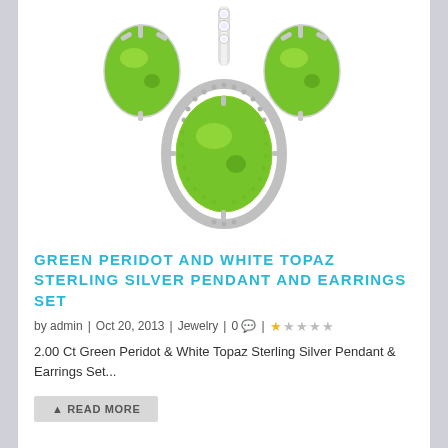[Figure (photo): Green peridot and white topaz sterling silver pendant and earrings set jewelry photo on white background. Shows a central pendant with an oval green peridot stone surrounded by milgrain silver setting and white topaz accents, flanked by two matching oval peridot stud earrings.]
GREEN PERIDOT AND WHITE TOPAZ STERLING SILVER PENDANT AND EARRINGS SET
by admin | Oct 20, 2013 | Jewelry | 0 💬 | ★☆☆☆☆
2.00 Ct Green Peridot & White Topaz Sterling Silver Pendant & Earrings Set...
READ MORE